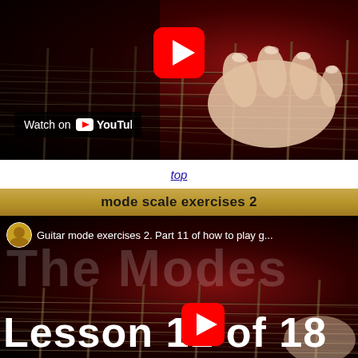[Figure (screenshot): YouTube video thumbnail showing guitar fretboard with hand fretting, play button overlay, and 'Watch on YouTube' badge]
top
mode scale exercises 2
[Figure (screenshot): YouTube video thumbnail showing 'The Modes - Lesson 11 of 18' with channel icon and title 'Guitar mode exercises 2. Part 11 of how to play g...']